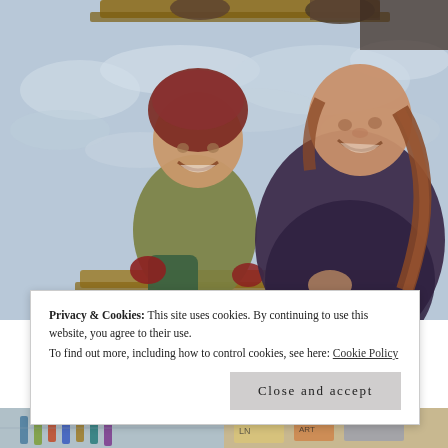[Figure (illustration): A painting depicting two figures in winter clothing seated outdoors against a snowy background. On the left is a young child wearing a dark red/maroon knit hat and olive/tan jacket with red mittens and green pants. On the right is an older girl or young woman with long reddish-brown braided hair wearing a large dark purple/maroon heavy coat. Both are smiling. In the upper background there are snow-covered surfaces and what appears to be a wooden sled or vehicle.]
Privacy & Cookies: This site uses cookies. By continuing to use this website, you agree to their use.
To find out more, including how to control cookies, see here: Cookie Policy
Close and accept
[Figure (photo): Bottom strip showing partial images — left side appears to show colored rods or tubes against a light background; right side shows a colorful scene with text/signage.]